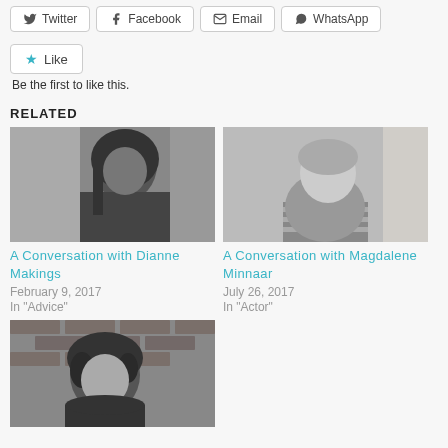[Figure (other): Social share buttons: Twitter, Facebook, Email, WhatsApp]
Like
Be the first to like this.
RELATED
[Figure (photo): Black and white photo of Dianne Makings, a woman with long dark hair indoors]
A Conversation with Dianne Makings
February 9, 2017
In "Advice"
[Figure (photo): Black and white photo of Magdalene Minnaar, a woman with short blonde hair in a striped top]
A Conversation with Magdalene Minnaar
July 26, 2017
In "Actor"
[Figure (photo): Black and white photo of a woman with dark curly hair against a brick wall]